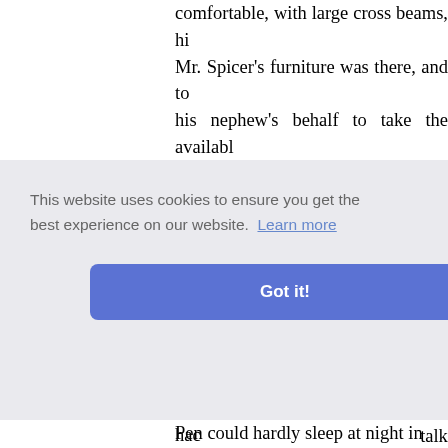comfortable, with large cross beams, hi Mr. Spicer's furniture was there, and to his nephew's behalf to take the availabl Pen did for his own part) six sporting draperies, which formed the late occupa
Then they went to hall, where Pen sate and the Major took his place at the hi fathers or guardians of youth, who hac they went to Mr. Buck's to take wine; great gravity in the upper place, having under the organ-loft, where that gentler his great prayer-book before him, an i gravity a y late, a talking a e remem are much
Pen could hardly sleep at night in his bc